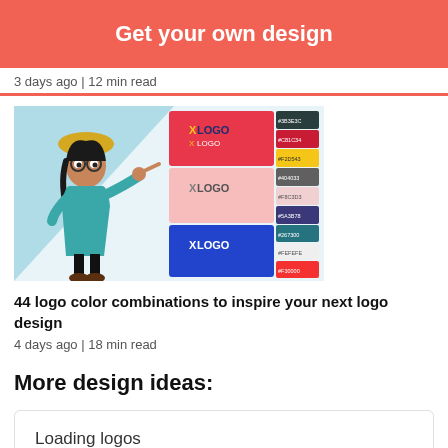[Figure (infographic): Red/coral banner button with white bold text 'Get your own design']
3 days ago | 12 min read
[Figure (illustration): Illustrated image showing a cartoon woman pointing at logo color combination swatches with X LOGO text on red, pink, and blue backgrounds with hex color codes]
44 logo color combinations to inspire your next logo design
4 days ago | 18 min read
More design ideas:
Loading logos